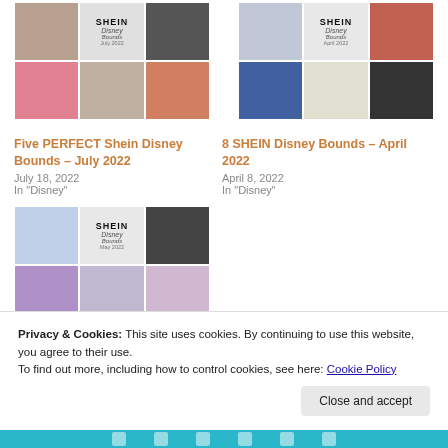[Figure (photo): Collage of SHEIN Disney Bounds outfits - July 2022]
Five PERFECT Shein Disney Bounds – July 2022
July 18, 2022
In "Disney"
[Figure (photo): Collage of SHEIN Disney Bounds outfits - April 2022]
8 SHEIN Disney Bounds – April 2022
April 8, 2022
In "Disney"
[Figure (photo): Collage of 4 SHEIN Outfits for Disney Bounds - May 2022]
4 SHEIN Outfits for Disney Bounds – May 2022
Privacy & Cookies: This site uses cookies. By continuing to use this website, you agree to their use. To find out more, including how to control cookies, see here: Cookie Policy
Close and accept